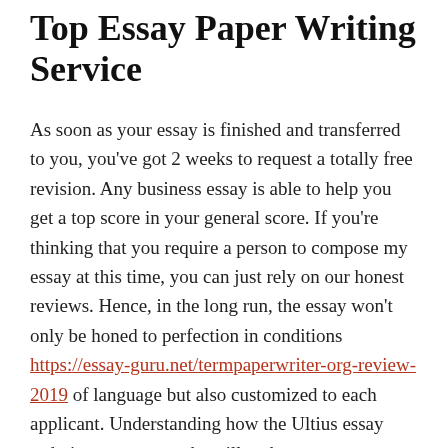Top Essay Paper Writing Service
As soon as your essay is finished and transferred to you, you've got 2 weeks to request a totally free revision. Any business essay is able to help you get a top score in your general score. If you're thinking that you require a person to compose my essay at this time, you can just rely on our honest reviews. Hence, in the long run, the essay won't only be honed to perfection in conditions https://essay-guru.net/termpaperwriter-org-review-2019 of language but also customized to each applicant. Understanding how the Ultius essay ordering process works will make sure you are both informed and conscious of what's happening at every step along